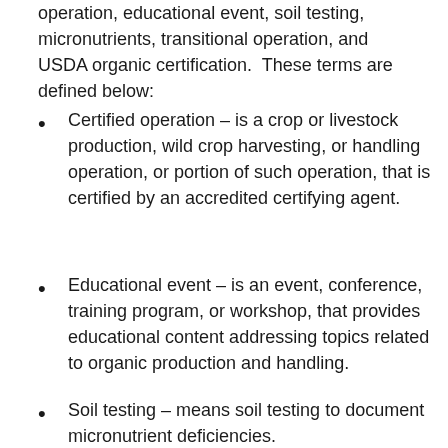operation, educational event, soil testing, micronutrients, transitional operation, and USDA organic certification.  These terms are defined below:
Certified operation – is a crop or livestock production, wild crop harvesting, or handling operation, or portion of such operation, that is certified by an accredited certifying agent.
Educational event – is an event, conference, training program, or workshop, that provides educational content addressing topics related to organic production and handling.
Soil testing – means soil testing to document micronutrient deficiencies.